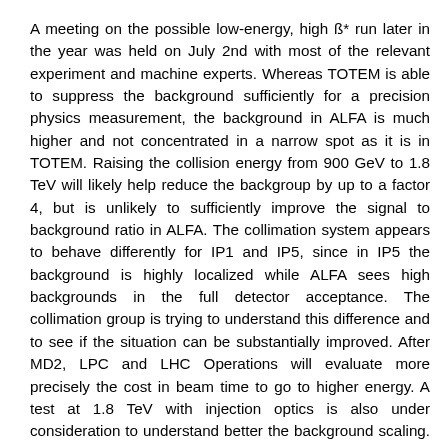A meeting on the possible low-energy, high ß* run later in the year was held on July 2nd with most of the relevant experiment and machine experts. Whereas TOTEM is able to suppress the background sufficiently for a precision physics measurement, the background in ALFA is much higher and not concentrated in a narrow spot as it is in TOTEM. Raising the collision energy from 900 GeV to 1.8 TeV will likely help reduce the backgroup by up to a factor 4, but is unlikely to sufficiently improve the signal to background ratio in ALFA. The collimation system appears to behave differently for IP1 and IP5, since in IP5 the background is highly localized while ALFA sees high backgrounds in the full detector acceptance. The collimation group is trying to understand this difference and to see if the situation can be substantially improved. After MD2, LPC and LHC Operations will evaluate more precisely the cost in beam time to go to higher energy. A test at 1.8 TeV with injection optics is also under consideration to understand better the background scaling. LPC will evaluate the time needed for such a test as well. It was